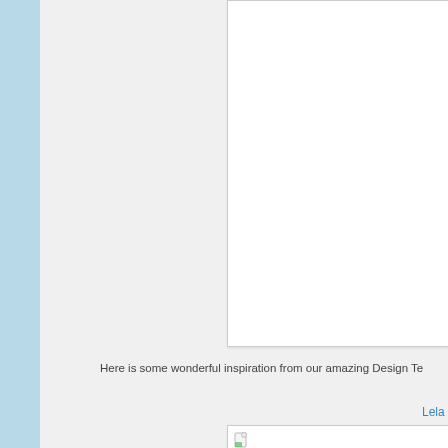[Figure (other): Large white content card/box, partially visible, with light grey border and subtle shadow, occupying upper right portion of the page]
Here is some wonderful inspiration from our amazing Design Te
Lela Norris
[Figure (other): Bottom white content card with a broken image icon (document with green corner) visible at the left edge]